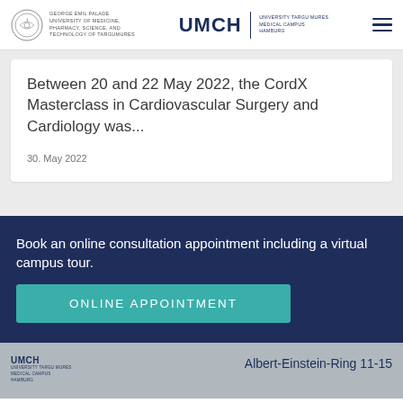GEORGE EMIL PALADE UNIVERSITY OF MEDICINE, PHARMACY, SCIENCE, AND TECHNOLOGY OF TARGUMURES | UMCH UNIVERSITY TARGU MURES MEDICAL CAMPUS HAMBURG
Between 20 and 22 May 2022, the CordX Masterclass in Cardiovascular Surgery and Cardiology was...
30. May 2022
Book an online consultation appointment including a virtual campus tour.
Online Appointment
UMCH UNIVERSITY TARGU MURES MEDICAL CAMPUS HAMBURG | Albert-Einstein-Ring 11-15